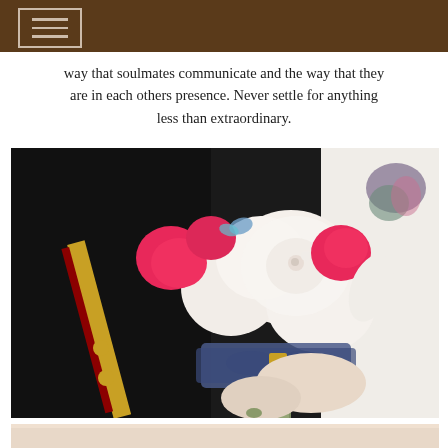[Navigation header with hamburger menu]
way that soulmates communicate and the way that they are in each others presence. Never settle for anything less than extraordinary.
[Figure (photo): Close-up photo of a bride holding a wedding bouquet with white and pink roses, decorated with blue lace ribbon and a military dog tag. The groom is in a dark military dress uniform with gold buttons and red trim. The bride's arm shows a floral tattoo.]
[Figure (photo): Partial view of another photo at the bottom of the page.]